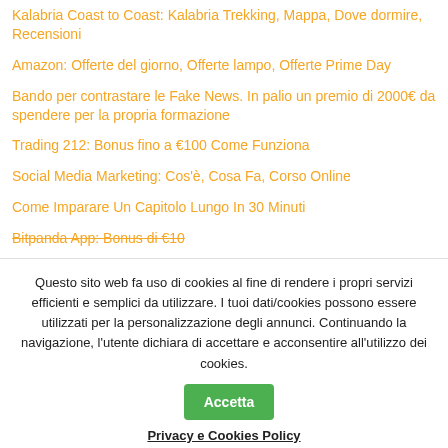Kalabria Coast to Coast: Kalabria Trekking, Mappa, Dove dormire, Recensioni
Amazon: Offerte del giorno, Offerte lampo, Offerte Prime Day
Bando per contrastare le Fake News. In palio un premio di 2000€ da spendere per la propria formazione
Trading 212: Bonus fino a €100 Come Funziona
Social Media Marketing: Cos'è, Cosa Fa, Corso Online
Come Imparare Un Capitolo Lungo In 30 Minuti
Bitpanda App: Bonus di €10
Questo sito web fa uso di cookies al fine di rendere i propri servizi efficienti e semplici da utilizzare. I tuoi dati/cookies possono essere utilizzati per la personalizzazione degli annunci. Continuando la navigazione, l'utente dichiara di accettare e acconsentire all'utilizzo dei cookies.
Accetta
Privacy e Cookies Policy